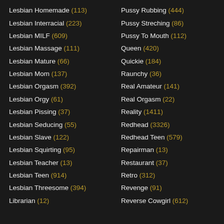Lesbian Homemade (113)
Pussy Rubbing (444)
Lesbian Interracial (223)
Pussy Streching (86)
Lesbian MILF (609)
Pussy To Mouth (112)
Lesbian Massage (111)
Queen (420)
Lesbian Mature (66)
Quickie (184)
Lesbian Mom (137)
Raunchy (36)
Lesbian Orgasm (392)
Real Amateur (141)
Lesbian Orgy (61)
Real Orgasm (22)
Lesbian Pissing (37)
Reality (1411)
Lesbian Seducing (55)
Redhead (3326)
Lesbian Slave (122)
Redhead Teen (579)
Lesbian Squirting (95)
Repairman (13)
Lesbian Teacher (13)
Restaurant (37)
Lesbian Teen (914)
Retro (312)
Lesbian Threesome (394)
Revenge (91)
Librarian (12)
Reverse Cowgirl (612)